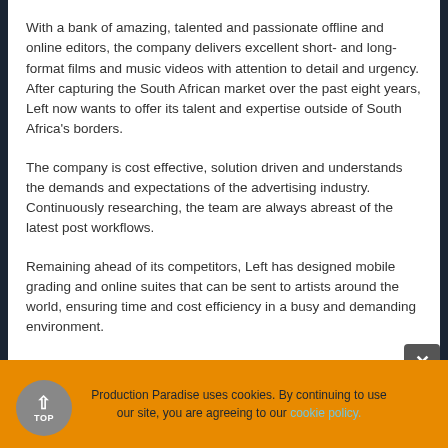With a bank of amazing, talented and passionate offline and online editors, the company delivers excellent short- and long-format films and music videos with attention to detail and urgency. After capturing the South African market over the past eight years, Left now wants to offer its talent and expertise outside of South Africa's borders.
The company is cost effective, solution driven and understands the demands and expectations of the advertising industry. Continuously researching, the team are always abreast of the latest post workflows.
Remaining ahead of its competitors, Left has designed mobile grading and online suites that can be sent to artists around the world, ensuring time and cost efficiency in a busy and demanding environment.
"View our work and see why we we're ranked #1 by Loeries 2014."
Production Paradise uses cookies. By continuing to use our site, you are agreeing to our cookie policy.